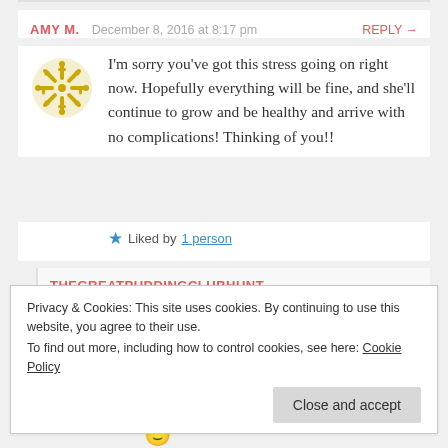AMY M.   December 8, 2016 at 8:17 pm   REPLY →
I'm sorry you've got this stress going on right now. Hopefully everything will be fine, and she'll continue to grow and be healthy and arrive with no complications! Thinking of you!!
★ Liked by 1 person
THEGREATPUDDINGCLUBHUNT
December 9, 2016 at 3:04 pm   REPLY →
Privacy & Cookies: This site uses cookies. By continuing to use this website, you agree to their use. To find out more, including how to control cookies, see here: Cookie Policy
Close and accept